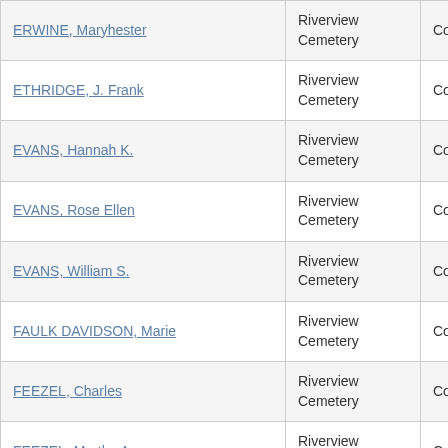| ERWINE, Maryhester | Riverview Cemetery | Columbiana |
| ETHRIDGE, J. Frank | Riverview Cemetery | Columbiana |
| EVANS, Hannah K. | Riverview Cemetery | Columbiana |
| EVANS, Rose Ellen | Riverview Cemetery | Columbiana |
| EVANS, William S. | Riverview Cemetery | Columbiana |
| FAULK DAVIDSON, Marie | Riverview Cemetery | Columbiana |
| FEEZEL, Charles | Riverview Cemetery | Columbiana |
| FEEZEL, Martha A. | Riverview Cemetery | Columbiana |
| FEEZEL, Villa A. | Riverview Cemetery | Columbiana |